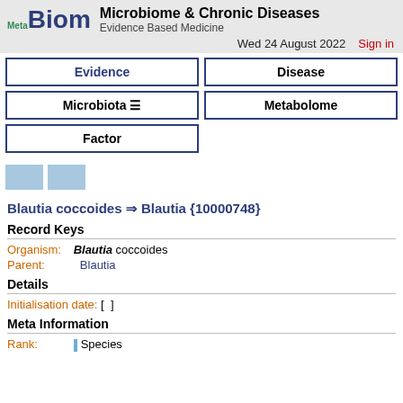MetaBiom — Microbiome & Chronic Diseases — Evidence Based Medicine — Wed 24 August 2022 — Sign in
Evidence | Disease | Microbiota ☰ | Metabolome | Factor
[Figure (other): Two light blue square thumbnail buttons]
Blautia coccoides ⇒ Blautia {10000748}
Record Keys
Organism: Blautia coccoides
Parent: Blautia
Details
Initialisation date: [  ]
Meta Information
Rank: Species